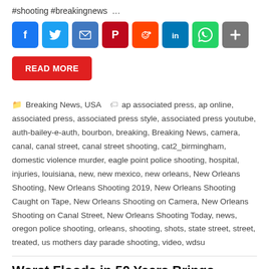#shooting #breakingnews …
[Figure (infographic): Row of social media share buttons: Facebook, Twitter, Email, Pinterest, Reddit, LinkedIn, WhatsApp, More]
READ MORE
Breaking News, USA  ap associated press, ap online, associated press, associated press style, associated press youtube, auth-bailey-e-auth, bourbon, breaking, Breaking News, camera, canal, canal street, canal street shooting, cat2_birmingham, domestic violence murder, eagle point police shooting, hospital, injuries, louisiana, new, new mexico, new orleans, New Orleans Shooting, New Orleans Shooting 2019, New Orleans Shooting Caught on Tape, New Orleans Shooting on Camera, New Orleans Shooting on Canal Street, New Orleans Shooting Today, news, oregon police shooting, orleans, shooting, shots, state street, street, treated, us mothers day parade shooting, video, wdsu
Worst Floods in 50 Years Brings Venice to a Standstill | Mayor Declares State of Emergency